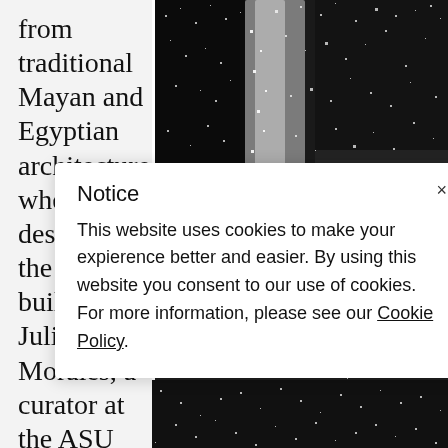from traditional Mayan and Egyptian architecture when designing the building, Julio Morales, a curator at the ASU Art Mu...
[Figure (photo): Black and white grainy/sparkly photographic image filling the right portion of the page, showing an abstract or architectural scene with bright light dots and contrast.]
Notice
×
This website uses cookies to make your expierence better and easier. By using this website you consent to our use of cookies. For more information, please see our Cookie Policy.